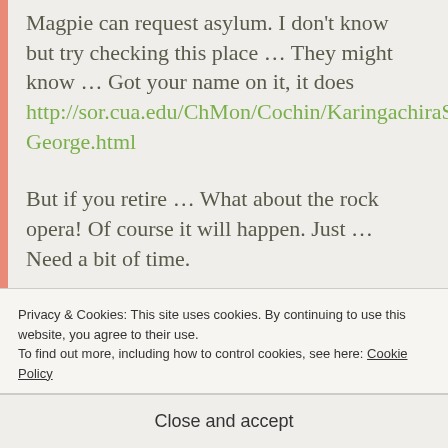Magpie can request asylum. I don't know but try checking this place … They might know … Got your name on it, it does http://sor.cua.edu/ChMon/Cochin/KaringachiraSGeorge.html
But if you retire … What about the rock opera! Of course it will happen. Just … Need a bit of time.
★ Like
↪ LOG IN TO REPLY
Privacy & Cookies: This site uses cookies. By continuing to use this website, you agree to their use.
To find out more, including how to control cookies, see here: Cookie Policy
Close and accept